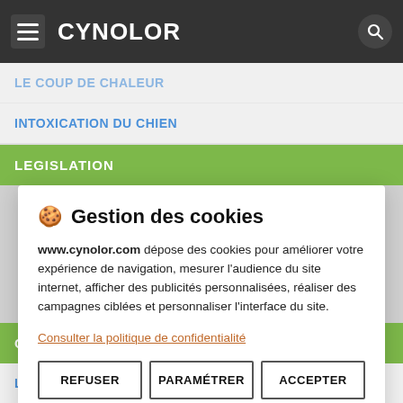CYNOLOR
LE COUP DE CHALEUR
INTOXICATION DU CHIEN
LEGISLATION
🍪 Gestion des cookies
www.cynolor.com dépose des cookies pour améliorer votre expérience de navigation, mesurer l'audience du site internet, afficher des publicités personnalisées, réaliser des campagnes ciblées et personnaliser l'interface du site.
Consulter la politique de confidentialité
REFUSER
PARAMÉTRER
ACCEPTER
CO
LE CHIEN D'ACCOMPAGNEMENT